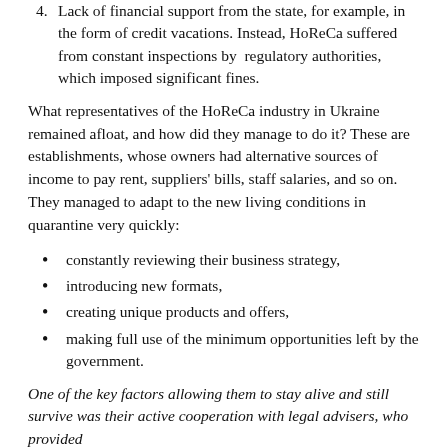4. Lack of financial support from the state, for example, in the form of credit vacations. Instead, HoReCa suffered from constant inspections by regulatory authorities, which imposed significant fines.
What representatives of the HoReCa industry in Ukraine remained afloat, and how did they manage to do it? These are establishments, whose owners had alternative sources of income to pay rent, suppliers' bills, staff salaries, and so on. They managed to adapt to the new living conditions in quarantine very quickly:
constantly reviewing their business strategy,
introducing new formats,
creating unique products and offers,
making full use of the minimum opportunities left by the government.
One of the key factors allowing them to stay alive and still survive was their active cooperation with legal advisers, who provided